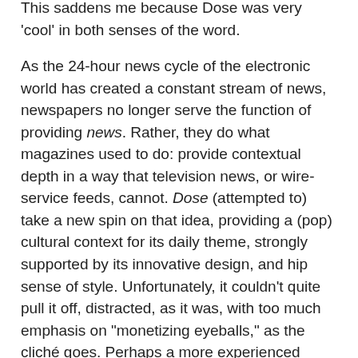This saddens me because Dose was very 'cool' in both senses of the word.
As the 24-hour news cycle of the electronic world has created a constant stream of news, newspapers no longer serve the function of providing news. Rather, they do what magazines used to do: provide contextual depth in a way that television news, or wire-service feeds, cannot. Dose (attempted to) take a new spin on that idea, providing a (pop) cultural context for its daily theme, strongly supported by its innovative design, and hip sense of style. Unfortunately, it couldn't quite pull it off, distracted, as it was, with too much emphasis on "monetizing eyeballs," as the cliché goes. Perhaps a more experienced publisher would have done a better job with the concept.
The intention is for Dose.ca to continue its online presence, that is to say, its cash register, but it's not at all clear to me that out of (daily) sight won't mean out of mind - and eventually out of business completely. There's value in providing context; there's value in creating collaborative creative and social spaces. Being primarily an excuse to sell ringtones doesn't provide value.